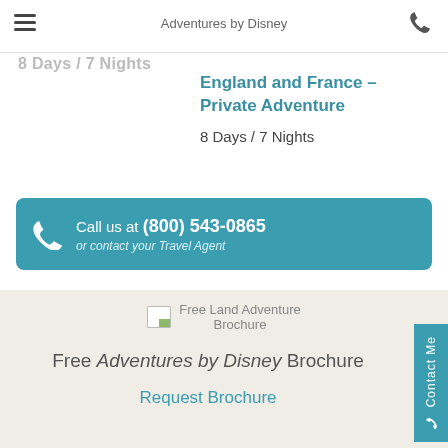Adventures by Disney
8 Days / 7 Nights
England and France – Private Adventure
8 Days / 7 Nights
Call us at (800) 543-0865 or contact your Travel Agent
[Figure (other): Free Land Adventure Brochure icon/image placeholder]
Free Adventures by Disney Brochure
Request Brochure